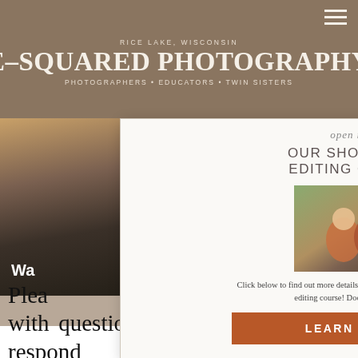RICE LAKE, WISCONSIN
E-SQUARED PHOTOGRAPHY
PHOTOGRAPHERS • EDUCATORS • TWIN SISTERS
[Figure (photo): Left: brownish textured photo panel. Right: dark blue panel with letters 'CT' visible. Background images behind modal popup.]
open now!
OUR SHOOTING & EDITING COURSE
[Figure (photo): Photo of two women (twin sisters) sitting outdoors in a field, wearing rust/orange tops.]
Click below to find out more details about our full blown shooting and editing course! Doors close 2/17/22!
LEARN MORE!
Please reach out to us with questions or a video idea! We respond best on Instagram – @esquared_photography